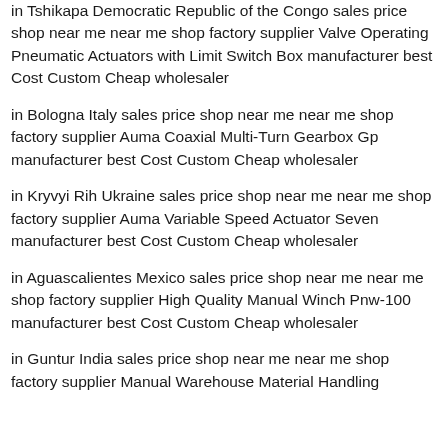in Tshikapa Democratic Republic of the Congo sales price shop near me near me shop factory supplier Valve Operating Pneumatic Actuators with Limit Switch Box manufacturer best Cost Custom Cheap wholesaler
in Bologna Italy sales price shop near me near me shop factory supplier Auma Coaxial Multi-Turn Gearbox Gp manufacturer best Cost Custom Cheap wholesaler
in Kryvyi Rih Ukraine sales price shop near me near me shop factory supplier Auma Variable Speed Actuator Seven manufacturer best Cost Custom Cheap wholesaler
in Aguascalientes Mexico sales price shop near me near me shop factory supplier High Quality Manual Winch Pnw-100 manufacturer best Cost Custom Cheap wholesaler
in Guntur India sales price shop near me near me shop factory supplier Manual Warehouse Material Handling